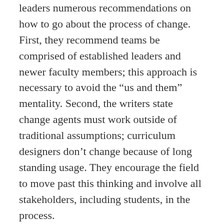leaders numerous recommendations on how to go about the process of change. First, they recommend teams be comprised of established leaders and newer faculty members; this approach is necessary to avoid the “us and them” mentality. Second, the writers state change agents must work outside of traditional assumptions; curriculum designers don’t change because of long standing usage. They encourage the field to move past this thinking and involve all stakeholders, including students, in the process.
The authors point out the importance of recognizing faculty who are instrumental in executing the new approach and providing incentives. They stress creating a “culture of faculty learning” (p. 194) and recommend providing opportunities for development